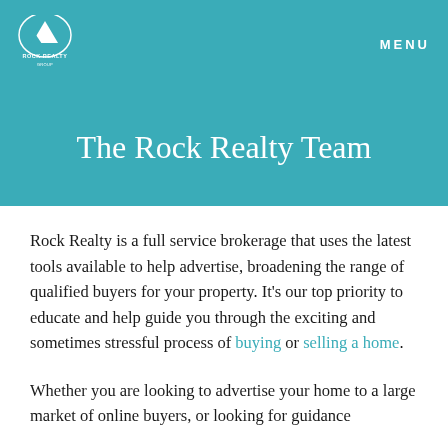ROCK REALTY | MENU
The Rock Realty Team
Rock Realty is a full service brokerage that uses the latest tools available to help advertise, broadening the range of qualified buyers for your property. It’s our top priority to educate and help guide you through the exciting and sometimes stressful process of buying or selling a home.
Whether you are looking to advertise your home to a large market of online buyers, or looking for guidance